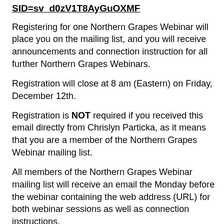SID=sv_d0zV1T8AyGuOXMF
Registering for one Northern Grapes Webinar will place you on the mailing list, and you will receive announcements and connection instruction for all further Northern Grapes Webinars.
Registration will close at 8 am (Eastern) on Friday, December 12th.
Registration is NOT required if you received this email directly from Chrislyn Particka, as it means that you are a member of the Northern Grapes Webinar mailing list.
All members of the Northern Grapes Webinar mailing list will receive an email the Monday before the webinar containing the web address (URL) for both webinar sessions as well as connection instructions.
Feel free to email Chrislyn Particka (cap297) with any questions, if you want to check your registration status, or if you'd like to be removed from the Northern Grapes Webinar mailing list.
Further Northern Grapes Project information is available on-line at